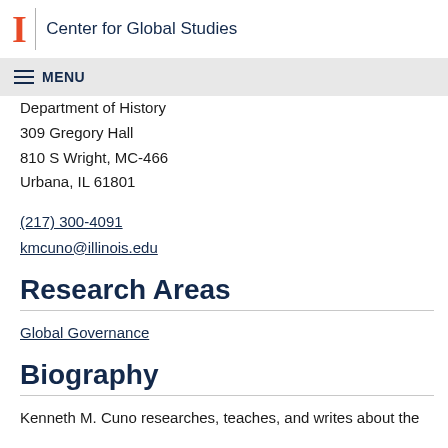Center for Global Studies
Department of History
309 Gregory Hall
810 S Wright, MC-466
Urbana, IL 61801
(217) 300-4091
kmcuno@illinois.edu
Research Areas
Global Governance
Biography
Kenneth M. Cuno researches, teaches, and writes about the